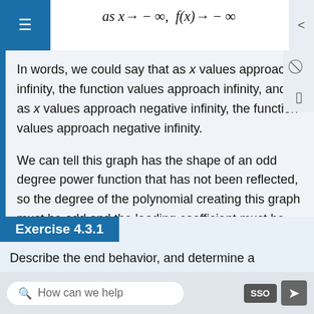In words, we could say that as x values approach infinity, the function values approach infinity, and as x values approach negative infinity, the function values approach negative infinity.
We can tell this graph has the shape of an odd degree power function that has not been reflected, so the degree of the polynomial creating this graph must be odd and the leading coefficient must be positive.
Exercise 4.3.1
Describe the end behavior, and determine a possible degree and leading coefficient...
How can we help   SSO